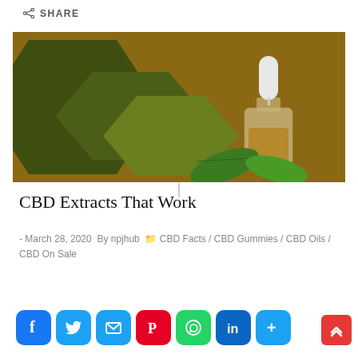SHARE
[Figure (photo): CBD oil dropper bottle with green cannabis leaves on brown background, overlaid with dark green hexagon graphics forming a logo-style composition]
CBD Extracts That Work
- March 28, 2020  By npjhub  CBD Facts / CBD Gummies / CBD Oils / CBD On Sale
[Figure (infographic): Social media share buttons row: Facebook, Twitter, Email, Pinterest, WhatsApp, LinkedIn, More]